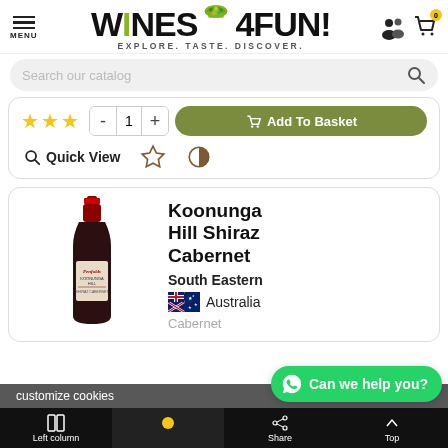WINES4FUN! EXPLORE. TASTE. DISCOVER.
Search our catalog
[Figure (screenshot): Product card controls: 3 star rating, quantity selector (- 1 +), Add To Basket button, Quick View link, favorite and compare icons]
[Figure (photo): Penfolds Koonunga Hill Shiraz Cabernet wine bottle]
Koonunga Hill Shiraz Cabernet
South Eastern
Australia
Cabernet
customize cookies
Left column  Share  Top